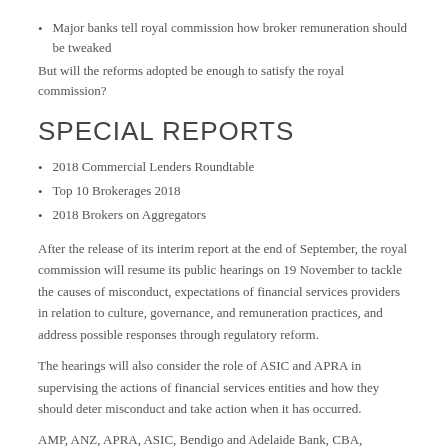Major banks tell royal commission how broker remuneration should be tweaked
But will the reforms adopted be enough to satisfy the royal commission?
SPECIAL REPORTS
2018 Commercial Lenders Roundtable
Top 10 Brokerages 2018
2018 Brokers on Aggregators
After the release of its interim report at the end of September, the royal commission will resume its public hearings on 19 November to tackle the causes of misconduct, expectations of financial services providers in relation to culture, governance, and remuneration practices, and address possible responses through regulatory reform.
The hearings will also consider the role of ASIC and APRA in supervising the actions of financial services entities and how they should deter misconduct and take action when it has occurred.
AMP, ANZ, APRA, ASIC, Bendigo and Adelaide Bank, CBA, Macquarie, NAB and Westpac will all be involved in the upcoming hearings.